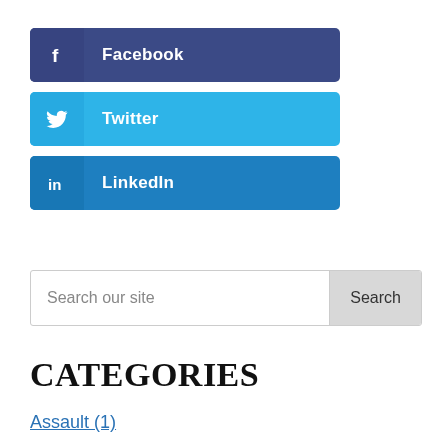[Figure (infographic): Facebook social share button — dark navy blue with white 'f' icon and bold white 'Facebook' label]
[Figure (infographic): Twitter social share button — light blue with white bird icon and bold white 'Twitter' label]
[Figure (infographic): LinkedIn social share button — medium blue with white 'in' icon and bold white 'LinkedIn' label]
Search our site
CATEGORIES
Assault (1)
Criminal Defense (18)
DUI/OWI (6)